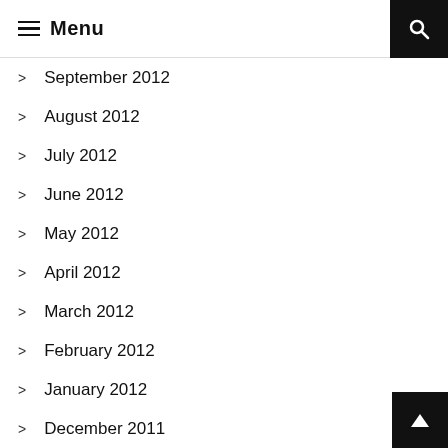Menu
September 2012
August 2012
July 2012
June 2012
May 2012
April 2012
March 2012
February 2012
January 2012
December 2011
November 2011